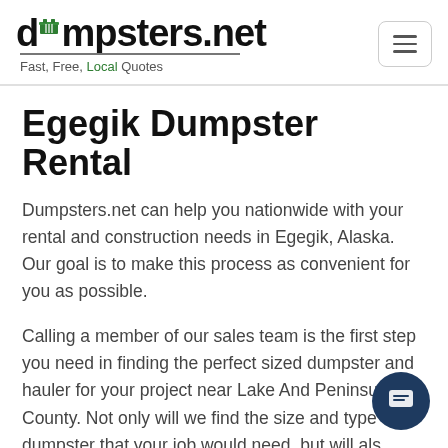dumpsters.net — Fast, Free, Local Quotes
Egegik Dumpster Rental
Dumpsters.net can help you nationwide with your rental and construction needs in Egegik, Alaska. Our goal is to make this process as convenient for you as possible.
Calling a member of our sales team is the first step you need in finding the perfect sized dumpster and hauler for your project near Lake And Peninsula County. Not only will we find the size and type of dumpster that your job would need, but will also find you a hauler that works with your budget and your